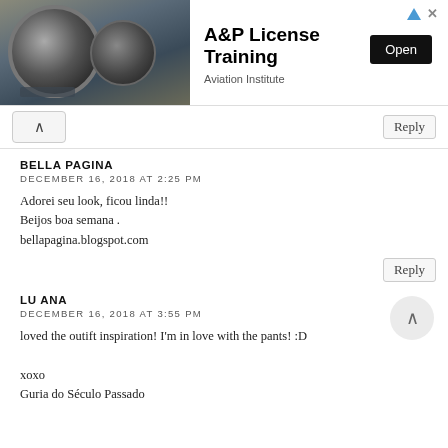[Figure (infographic): Advertisement banner for A&P License Training by Aviation Institute, with jet engine photo on the left, bold title text, and an Open button.]
A&P License Training
Aviation Institute
Open
Reply
BELLA PAGINA
DECEMBER 16, 2018 AT 2:25 PM
Adorei seu look, ficou linda!!
Beijos boa semana .
bellapagina.blogspot.com
Reply
LU ANA
DECEMBER 16, 2018 AT 3:55 PM
loved the outift inspiration! I'm in love with the pants! :D

xoxo
Guria do Século Passado